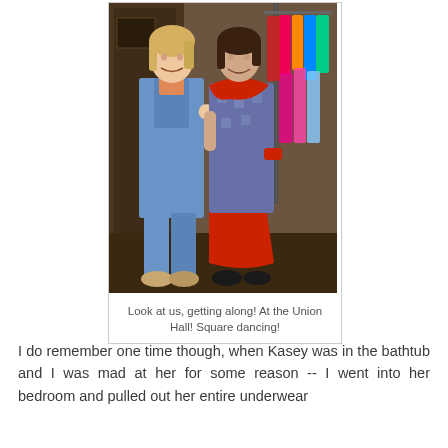[Figure (photo): Two women posing together indoors at the Union Hall. The woman on the left wears jeans/overalls and has blonde hair. The woman on the right wears a blue patterned dress with red ruffled accents and collar, and a red skirt underneath. Behind them is a clothing rack with colorful garments. Square dancing context.]
Look at us, getting along! At the Union Hall! Square dancing!
I do remember one time though, when Kasey was in the bathtub and I was mad at her for some reason -- I went into her bedroom and pulled out her entire underwear